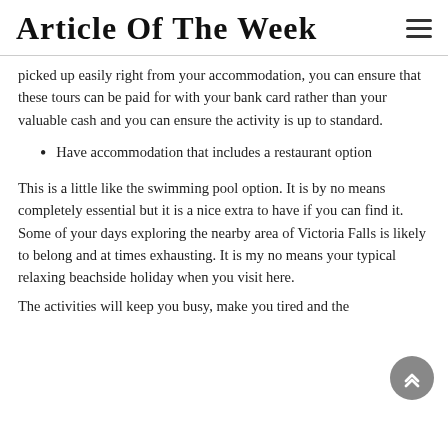Article Of The Week
picked up easily right from your accommodation, you can ensure that these tours can be paid for with your bank card rather than your valuable cash and you can ensure the activity is up to standard.
Have accommodation that includes a restaurant option
This is a little like the swimming pool option. It is by no means completely essential but it is a nice extra to have if you can find it. Some of your days exploring the nearby area of Victoria Falls is likely to belong and at times exhausting. It is my no means your typical relaxing beachside holiday when you visit here.
The activities will keep you busy, make you tired and the